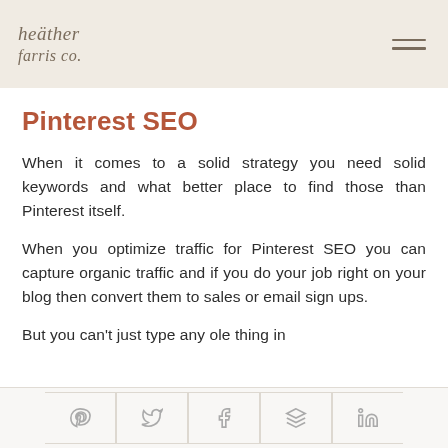heather farris co.
Pinterest SEO
When it comes to a solid strategy you need solid keywords and what better place to find those than Pinterest itself.
When you optimize traffic for Pinterest SEO you can capture organic traffic and if you do your job right on your blog then convert them to sales or email sign ups.
But you can't just type any ole thing in
Social share buttons: Pinterest, Twitter, Facebook, Buffer, LinkedIn